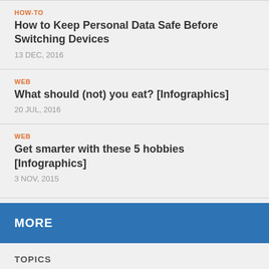HOW-TO
How to Keep Personal Data Safe Before Switching Devices
13 DEC, 2016
WEB
What should (not) you eat? [Infographics]
20 JUL, 2016
WEB
Get smarter with these 5 hobbies [Infographics]
3 NOV, 2015
MORE
TOPICS
Entrepreneur (31)